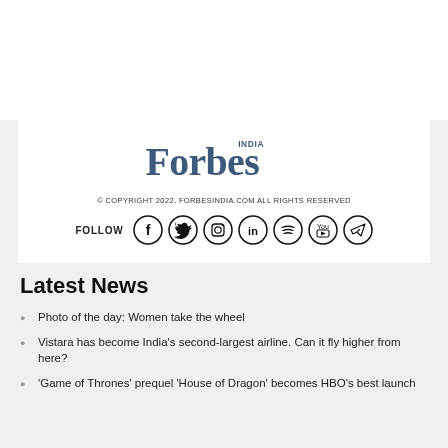[Figure (logo): Forbes India logo in dark blue serif font with 'INDIA' superscript]
© COPYRIGHT 2022, FORBESINDIA.COM ALL RIGHTS RESERVED
[Figure (infographic): Follow row with social media icons: Facebook, Twitter, Instagram, LinkedIn, Spotify, YouTube, Telegram]
Latest News
Photo of the day: Women take the wheel
Vistara has become India's second-largest airline. Can it fly higher from here?
'Game of Thrones' prequel 'House of Dragon' becomes HBO's best launch